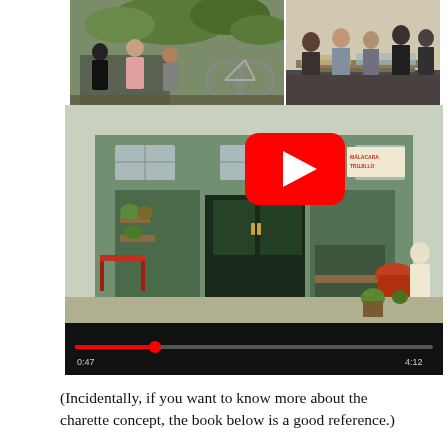[Figure (photo): Top collage of two photos: left photo shows people sitting at outdoor cafe tables with a bicycle and plants; right photo shows people gathered around tables indoors, appearing to look at materials spread on tables.]
[Figure (screenshot): YouTube video embed showing a storefront with green tile facade, decorative plants and items outside, a sign reading 'MALACARA TRUJILLO', a red chair, and a YouTube play button overlay in the center.]
[Figure (photo): Black video player control bar at bottom of embedded YouTube video.]
(Incidentally, if you want to know more about the charette concept, the book below is a good reference.)